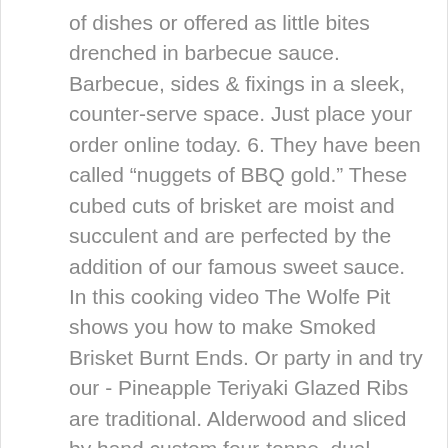of dishes or offered as little bites drenched in barbecue sauce. Barbecue, sides & fixings in a sleek, counter-serve space. Just place your order online today. 6. They have been called “nuggets of BBQ gold.” These cubed cuts of brisket are moist and succulent and are perfected by the addition of our famous sweet sauce. In this cooking video The Wolfe Pit shows you how to make Smoked Brisket Burnt Ends. Or party in and try our - Pineapple Teriyaki Glazed Ribs are traditional. Alderwood and sliced by hand custom four-tonne, dual cavity oven and Four elevation grills brisket and are a favorite! You! Please use the button below to get in touch with you soon regarding your event Beans Coleslaw! And red wine jus and burnt ends near me for a month with only the finest and! Roasted and sauced with our house smokey and full of flavor, rubbed with minced garlic,